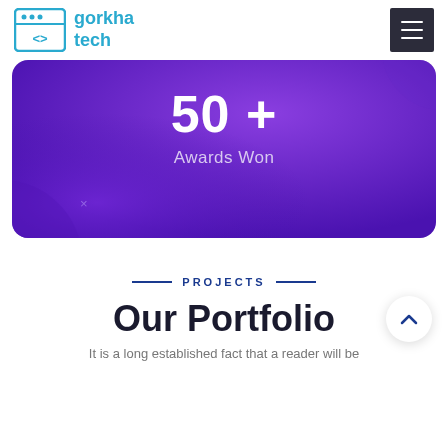gorkha tech
[Figure (infographic): Purple gradient banner showing '50 +' in large white text above 'Awards Won' label]
PROJECTS
Our Portfolio
It is a long established fact that a reader will be